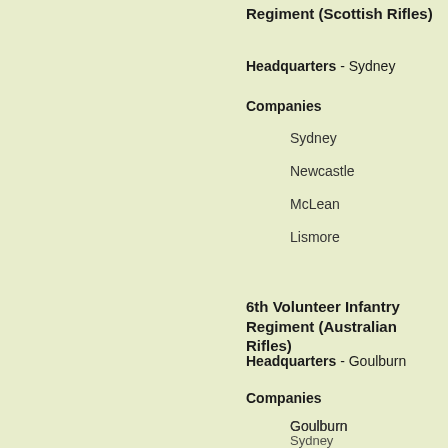Regiment (Scottish Rifles)
Headquarters - Sydney
Companies
Sydney
Newcastle
McLean
Lismore
6th Volunteer Infantry Regiment (Australian Rifles)
Headquarters - Goulburn
Companies
Goulburn
Sydney
Hornsby